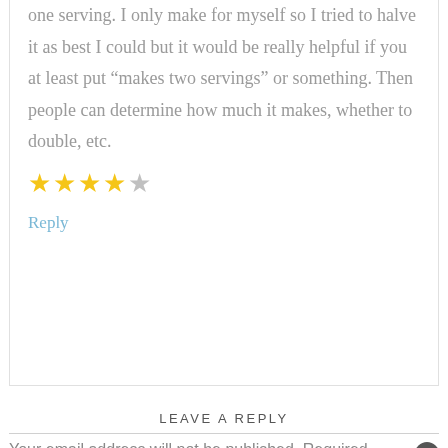one serving. I only make for myself so I tried to halve it as best I could but it would be really helpful if you at least put “makes two servings” or something. Then people can determine how much it makes, whether to double, etc.
[Figure (other): Star rating: 4 out of 5 stars (4 filled gold stars and 1 empty/outline star)]
Reply
LEAVE A REPLY
Your email address will not be published. Required